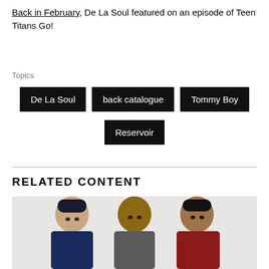Back in February, De La Soul featured on an episode of Teen Titans Go!
Topics
De La Soul
back catalogue
Tommy Boy
Reservoir
RELATED CONTENT
[Figure (photo): Three men posed for a photo, likely De La Soul members]